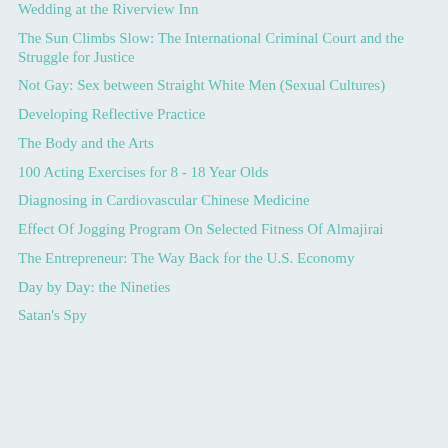Wedding at the Riverview Inn
The Sun Climbs Slow: The International Criminal Court and the Struggle for Justice
Not Gay: Sex between Straight White Men (Sexual Cultures)
Developing Reflective Practice
The Body and the Arts
100 Acting Exercises for 8 - 18 Year Olds
Diagnosing in Cardiovascular Chinese Medicine
Effect Of Jogging Program On Selected Fitness Of Almajirai
The Entrepreneur: The Way Back for the U.S. Economy
Day by Day: the Nineties
Satan's Spy